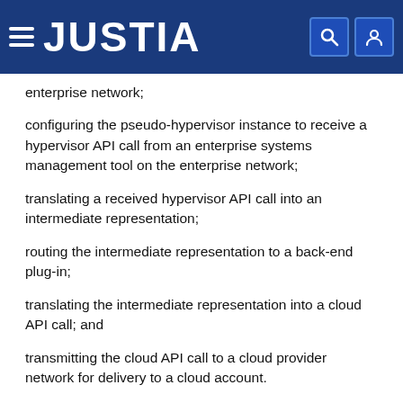JUSTIA
enterprise network;
configuring the pseudo-hypervisor instance to receive a hypervisor API call from an enterprise systems management tool on the enterprise network;
translating a received hypervisor API call into an intermediate representation;
routing the intermediate representation to a back-end plug-in;
translating the intermediate representation into a cloud API call; and
transmitting the cloud API call to a cloud provider network for delivery to a cloud account.